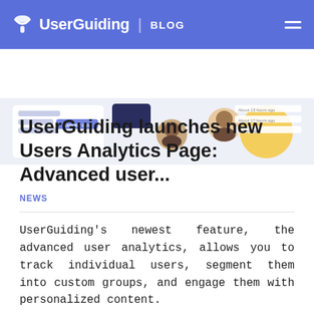UserGuiding | BLOG
[Figure (screenshot): UserGuiding analytics dashboard screenshot showing user activity with export CSV button, user avatars, and timestamps like '2 days ago', 'About 17 hours ago']
UserGuiding launches new Users Analytics Page: Advanced user...
NEWS
UserGuiding's newest feature, the advanced user analytics, allows you to track individual users, segment them into custom groups, and engage them with personalized content.
Thierry Maout
October 6, 2021 · 1 min read